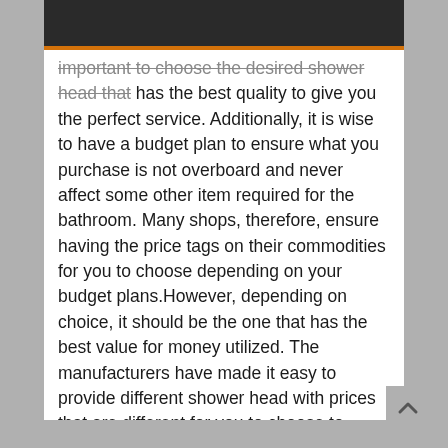important to choose the desired shower head that has the best quality to give you the perfect service. Additionally, it is wise to have a budget plan to ensure what you purchase is not overboard and never affect some other item required for the bathroom. Many shops, therefore, ensure having the price tags on their commodities for you to choose depending on your budget plans.However, depending on choice, it should be the one that has the best value for money utilized. The manufacturers have made it easy to provide different shower head with prices that are different for you to choose to depend on your financial plan budget. Research is the best option necessary before purchasing your shower head to be able to meet your desire.The internet has a website containing the reviews that would help you to choose the right shower. However, as the